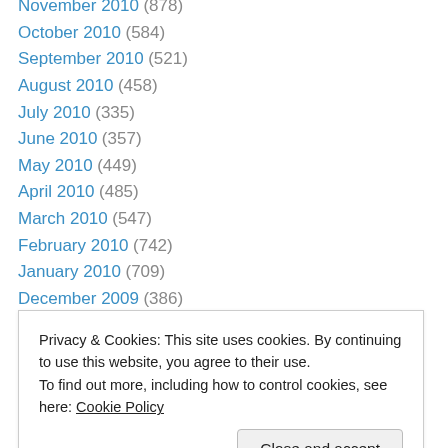November 2010 (878)
October 2010 (584)
September 2010 (521)
August 2010 (458)
July 2010 (335)
June 2010 (357)
May 2010 (449)
April 2010 (485)
March 2010 (547)
February 2010 (742)
January 2010 (709)
December 2009 (386)
November 2009 (364)
October 2009 (361)
Privacy & Cookies: This site uses cookies. By continuing to use this website, you agree to their use.
To find out more, including how to control cookies, see here: Cookie Policy
April 2009 (265)